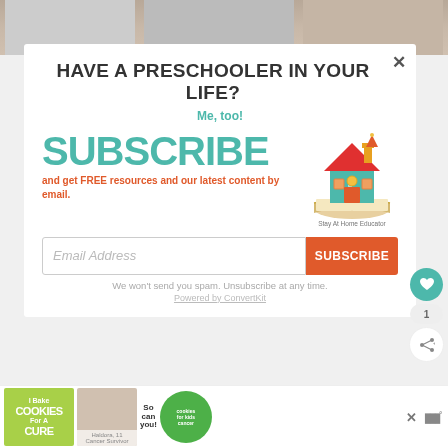[Figure (photo): Top strip showing food photography images with cursive text overlays 'White Chocolate' and 'bourbon caramel']
HAVE A PRESCHOOLER IN YOUR LIFE?
Me, too!
SUBSCRIBE
and get FREE resources and our latest content by email.
[Figure (illustration): Cartoon house logo for Stay At Home Educator, with red roof, teal walls, and open book base]
Stay At Home Educator
Email Address
SUBSCRIBE
We won't send you spam. Unsubscribe at any time.
Powered by ConvertKit
[Figure (infographic): Bottom advertisement banner for 'I Bake Cookies For A Cure' featuring a girl, green circle with 'cookies for kids cancer' text, and 'So can you!' text, with a close button and WW logo]